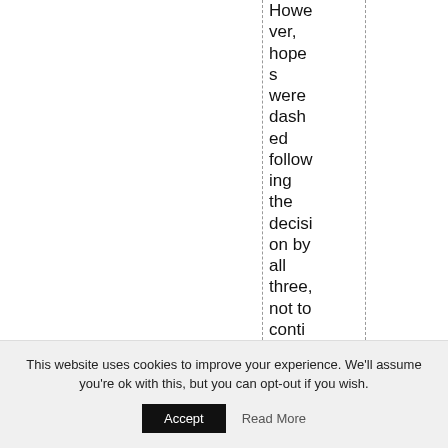However, hopes were dashed following the decision by all three, not to continue at the helm due to various other
This website uses cookies to improve your experience. We'll assume you're ok with this, but you can opt-out if you wish. Accept Read More